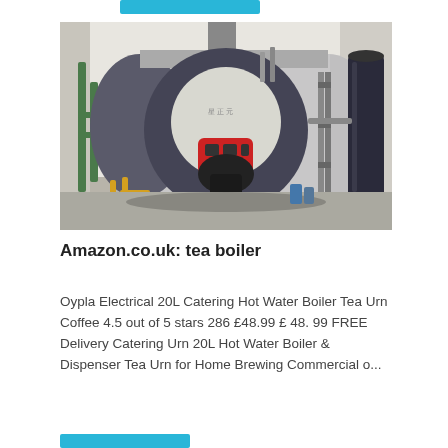[Figure (photo): Industrial boiler unit installed in a room — a large cylindrical horizontal boiler with a burner, grey/dark casing, flanked by green piping on the left, yellow gas pipes at bottom, and a dark cylindrical tank on the right. Room has white walls and concrete floor.]
Amazon.co.uk: tea boiler
Oypla Electrical 20L Catering Hot Water Boiler Tea Urn Coffee 4.5 out of 5 stars 286 £48.99 £ 48. 99 FREE Delivery Catering Urn 20L Hot Water Boiler & Dispenser Tea Urn for Home Brewing Commercial o...